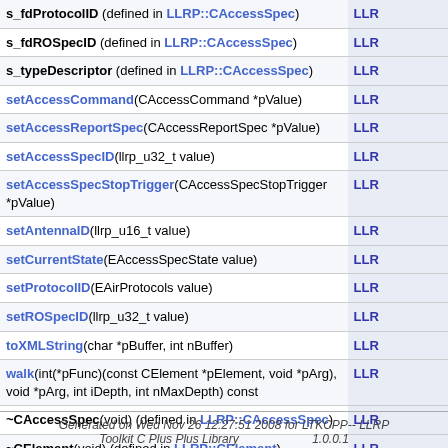| Member | Class |
| --- | --- |
| s_fdProtocolID (defined in LLRP::CAccessSpec) | LLR... |
| s_fdROSpecID (defined in LLRP::CAccessSpec) | LLR... |
| s_typeDescriptor (defined in LLRP::CAccessSpec) | LLR... |
| setAccessCommand(CAccessCommand *pValue) | LLR... |
| setAccessReportSpec(CAccessReportSpec *pValue) | LLR... |
| setAccessSpecID(llrp_u32_t value) | LLR... |
| setAccessSpecStopTrigger(CAccessSpecStopTrigger *pValue) | LLR... |
| setAntennaID(llrp_u16_t value) | LLR... |
| setCurrentState(EAccessSpecState value) | LLR... |
| setProtocolID(EAirProtocols value) | LLR... |
| setROSpecID(llrp_u32_t value) | LLR... |
| toXMLString(char *pBuffer, int nBuffer) | LLR... |
| walk(int(*pFunc)(const CElement *pElement, void *pArg), void *pArg, int iDepth, int nMaxDepth) const | LLR... |
| ~CAccessSpec(void) (defined in LLRP::CAccessSpec) | LLR... |
| ~CElement(void) (defined in LLRP::CElement) | LLR... |
Generated on Wed Nov 26 12:27:51 2008 for LTKCPP-- LLRP